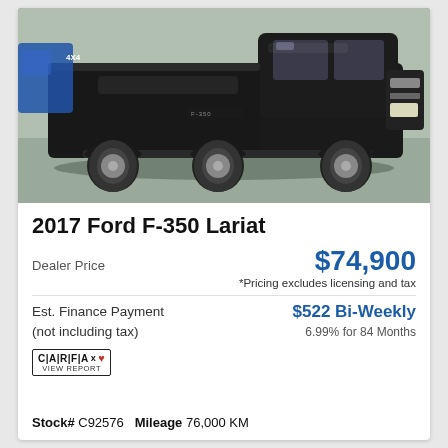[Figure (photo): Side profile photo of a black 2017 Ford F-350 Lariat heavy duty pickup truck parked in a lot. The truck is large, black, with chrome wheels and a long bed. Blue truck visible in background on the left.]
2017 Ford F-350 Lariat
Dealer Price
$74,900
*Pricing excludes licensing and tax
Est. Finance Payment (not including tax)
$522 Bi-Weekly
6.99% for 84 Months
[Figure (logo): CARFAX Canada logo with maple leaf and 'VIEW REPORT' text below]
Stock# C92576  Mileage 76,000 KM